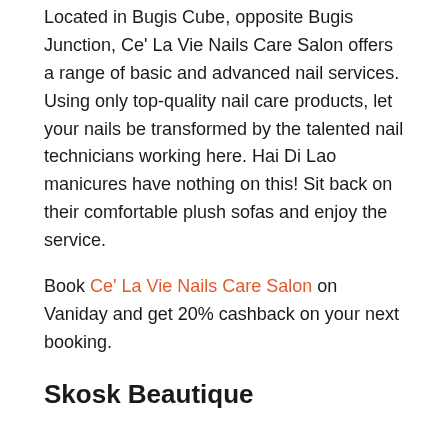Located in Bugis Cube, opposite Bugis Junction, Ce' La Vie Nails Care Salon offers a range of basic and advanced nail services. Using only top-quality nail care products, let your nails be transformed by the talented nail technicians working here. Hai Di Lao manicures have nothing on this! Sit back on their comfortable plush sofas and enjoy the service.
Book Ce' La Vie Nails Care Salon on Vaniday and get 20% cashback on your next booking.
Skosk Beautique